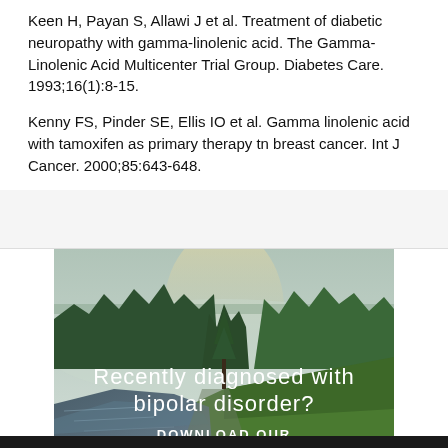Keen H, Payan S, Allawi J et al. Treatment of diabetic neuropathy with gamma-linolenic acid. The Gamma-Linolenic Acid Multicenter Trial Group. Diabetes Care. 1993;16(1):8-15.
Kenny FS, Pinder SE, Ellis IO et al. Gamma linolenic acid with tamoxifen as primary therapy tn breast cancer. Int J Cancer. 2000;85:643-648.
[Figure (photo): Advertisement image showing a forest landscape with pine trees, a river/stream running through a meadow, with text overlay reading 'Recently diagnosed with bipolar disorder? DOWNLOAD OUR FREE EBOOK NOW.' with a white underline beneath the last line.]
advertisement